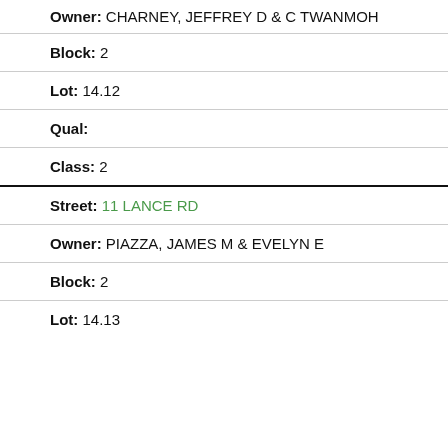Owner: CHARNEY, JEFFREY D & C TWANMOH
Block: 2
Lot: 14.12
Qual:
Class: 2
Street: 11 LANCE RD
Owner: PIAZZA, JAMES M & EVELYN E
Block: 2
Lot: 14.13